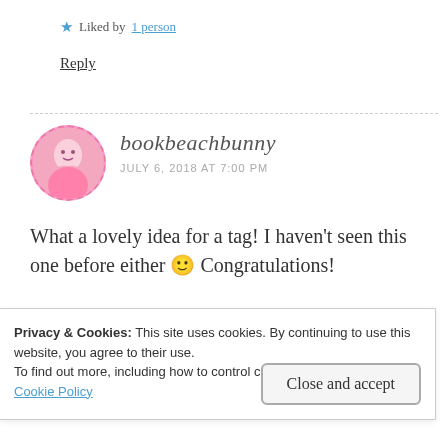★ Liked by 1 person
Reply
bookbeachbunny
JULY 6, 2018 AT 7:00 PM
What a lovely idea for a tag! I haven't seen this one before either 🙂 Congratulations!
Privacy & Cookies: This site uses cookies. By continuing to use this website, you agree to their use.
To find out more, including how to control cookies, see here:
Cookie Policy
Close and accept